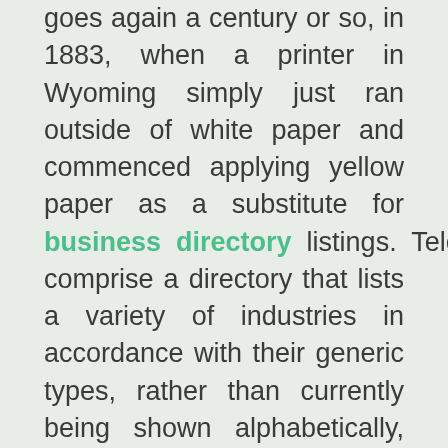goes again a century or so, in 1883, when a printer in Wyoming simply just ran outside of white paper and commenced applying yellow paper as a substitute for business directory listings. Telephone book comprise a directory that lists a variety of industries in accordance with their generic types, rather than currently being shown alphabetically, which often caused confusion during the previous. Equally as the title suggests, this listing is published on internet pages which might be yellow as opposed to white. Nevertheless originally this name was reserved for all kinds of professional listings on paper, now it truly is also prolonged to include on the internet listings and directories of businesses. The name, 1 ought to remember features a trademark from the United kingdom. From the Usa and several other countries this identify hasn't been trademarked and therefore is